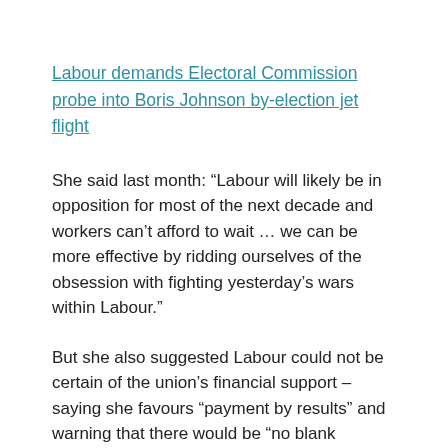Labour demands Electoral Commission probe into Boris Johnson by-election jet flight
She said last month: “Labour will likely be in opposition for most of the next decade and workers can’t afford to wait … we can be more effective by ridding ourselves of the obsession with fighting yesterday’s wars within Labour.”
But she also suggested Labour could not be certain of the union’s financial support – saying she favours “payment by results” and warning that there would be “no blank cheque” under her leadership.
Ms Graham successfully pitched herself as the “workers’ candidate” – pledging to take Unite “back to the workplace” and keep out of factional politics.